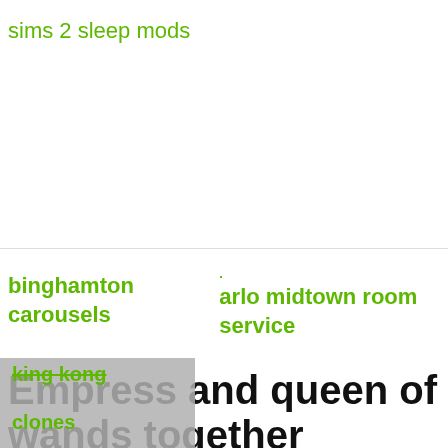sims 2 sleep mods
binghamton carousels    arlo midtown room service
Empress and queen of wands together
The Chariot paired with the Eight of Wands is very exciting. This means that the goal you've been working towards will be achieved. Whatever you've been dreaming about is
king kong clones